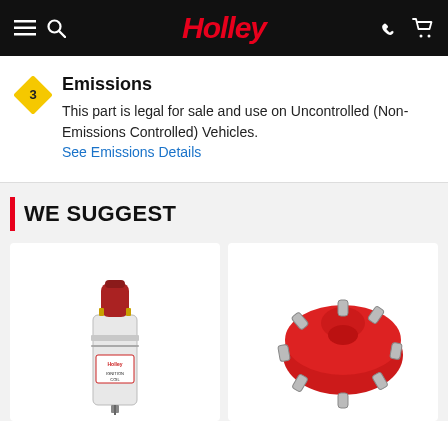Holley navigation bar with menu, search, logo, phone, and cart icons
Emissions
This part is legal for sale and use on Uncontrolled (Non-Emissions Controlled) Vehicles.
See Emissions Details
WE SUGGEST
[Figure (photo): Holley ignition coil product photo — red and chrome cylindrical coil]
[Figure (photo): Red distributor cap with multiple terminal posts]